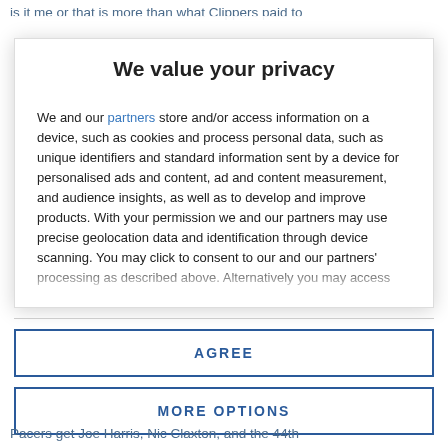is it me or that is more than what Clippers paid to
We value your privacy
We and our partners store and/or access information on a device, such as cookies and process personal data, such as unique identifiers and standard information sent by a device for personalised ads and content, ad and content measurement, and audience insights, as well as to develop and improve products. With your permission we and our partners may use precise geolocation data and identification through device scanning. You may click to consent to our and our partners' processing as described above. Alternatively you may access more detailed information and change your preferences before consenting or to refuse consenting. Please note that some processing of your personal data may not require your consent, but you have a right to
AGREE
MORE OPTIONS
Pacers get Joe Harris, Nic Claxton, and the 44th